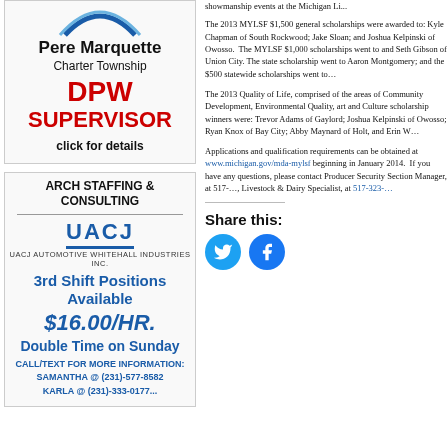[Figure (logo): Pere Marquette Charter Township DPW Supervisor advertisement with blue arc logo, red DPW SUPERVISOR text, and click for details]
[Figure (logo): ARCH STAFFING & CONSULTING advertisement featuring UACJ Automotive Whitehall Industries Inc., 3rd Shift Positions Available, $16.00/HR., Double Time on Sunday, call/text info]
showmanship events at the Michigan Li...
The 2013 MYLSF $1,500 general schola... Chapman of South Rockwood; Jake Sloa... Kelpinski of Owosso. The MYLSF $1,0... and Seth Gibson of Union City. The state Montgomery; and the $500 statewide sch...
The 2013 Quality of Life, comprised of t... Development, Environmental Quality, ar... winners were: Trevor Adams of Gaylord Joshua Kelpinski of Owosso; Ryan Knox City; Abby Maynard of Holt, and Erin W...
Applications and qualification requiremen... obtained at www.michigan.gov/mda-myl... 2014. If you have any questions, please ... Producer Security Section Manager, at 5... Livestock & Dairy Specialist, at 517-323...
Share this: